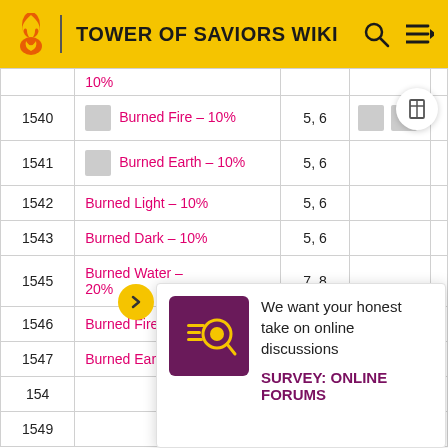TOWER OF SAVIORS WIKI
| ID | Name | Level | Images |  |
| --- | --- | --- | --- | --- |
|  | 10% |  |  |  |
| 1540 | Burned Fire – 10% | 5, 6 |  |  |
| 1541 | Burned Earth – 10% | 5, 6 |  |  |
| 1542 | Burned Light – 10% | 5, 6 |  |  |
| 1543 | Burned Dark – 10% | 5, 6 |  |  |
| 1545 | Burned Water – 20% | 7, 8 |  |  |
| 1546 | Burned Fire – 20% | 7, 8 |  |  |
| 1547 | Burned Earth – 20% | 7, 8 |  |  |
| 154 |  |  |  |  |
| 1549 |  |  |  |  |
We want your honest take on online discussions
SURVEY: ONLINE FORUMS